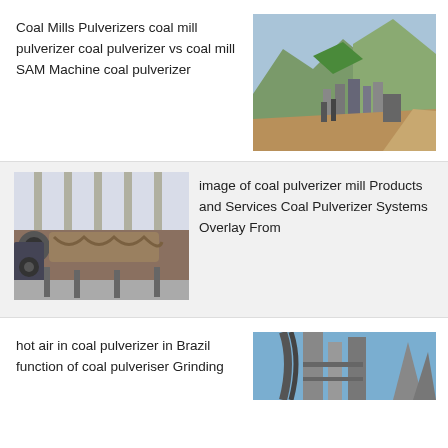Coal Mills Pulverizers coal mill pulverizer coal pulverizer vs coal mill SAM Machine coal pulverizer
[Figure (photo): Aerial view of a mining or industrial facility with green-covered hills/mountains in the background and industrial equipment/structures in the foreground.]
[Figure (photo): Industrial conveyor or processing machinery inside a large warehouse/factory building, showing heavy equipment with rollers and belt conveyors.]
image of coal pulverizer mill Products and Services Coal Pulverizer Systems Overlay From
hot air in coal pulverizer in Brazil function of coal pulveriser Grinding
[Figure (photo): Industrial grinding or pulverizing tower/column structures against a blue sky, showing vertical cylindrical equipment.]